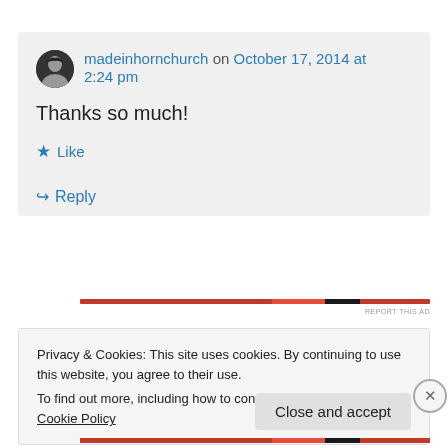madeinhornchurch on October 17, 2014 at 2:24 pm
Thanks so much!
★ Like
↪ Reply
REPORT THIS AD
Privacy & Cookies: This site uses cookies. By continuing to use this website, you agree to their use.
To find out more, including how to control cookies, see here: Cookie Policy
Close and accept
REPORT THIS AD